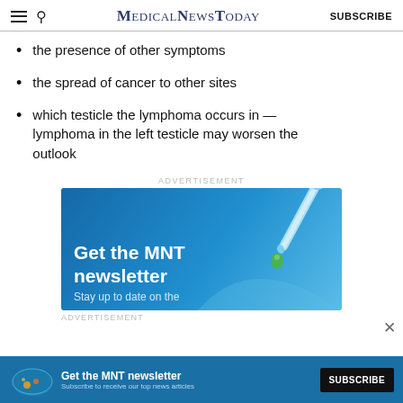MedicalNewsToday | SUBSCRIBE
the presence of other symptoms
the spread of cancer to other sites
which testicle the lymphoma occurs in — lymphoma in the left testicle may worsen the outlook
[Figure (illustration): Medical News Today newsletter advertisement banner. Blue background with dropper/pipette illustration. Text reads 'Get the MNT newsletter' and 'Stay up to date on the']
[Figure (illustration): Bottom banner ad: 'Get the MNT newsletter — Subscribe to receive our top news articles' with SUBSCRIBE button]